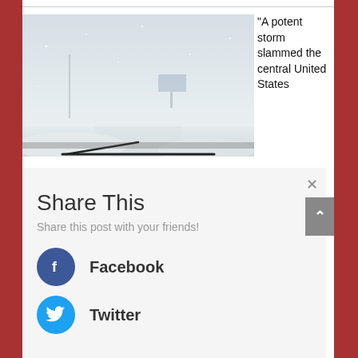[Figure (photo): A snowy road viewed from inside a vehicle during a blizzard, with white-out conditions, a billboard visible in the distance, and windshield wipers visible at the bottom of the frame.]
“A potent storm slammed the central United States
Share This
Share this post with your friends!
Facebook
Twitter